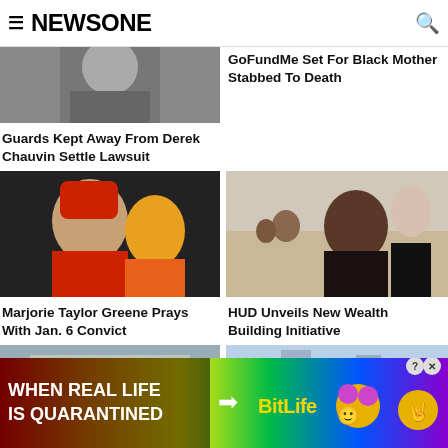NEWSONE
[Figure (photo): Close-up photo of a man's face (Derek Chauvin story)]
Guards Kept Away From Derek Chauvin Settle Lawsuit
GoFundMe Set For Black Mother Stabbed To Death
[Figure (photo): Marjorie Taylor Greene in red hat praying with January 6 convict]
[Figure (photo): Group of people at a HUD event, woman praying with hands clasped]
Marjorie Taylor Greene Prays With Jan. 6 Convict
HUD Unveils New Wealth Building Initiative
[Figure (photo): Shelby County Courthouse sign]
[Figure (photo): City buildings skyline]
[Figure (advertisement): BitLife ad: WHEN REAL LIFE IS QUARANTINED with rainbow background and emojis]